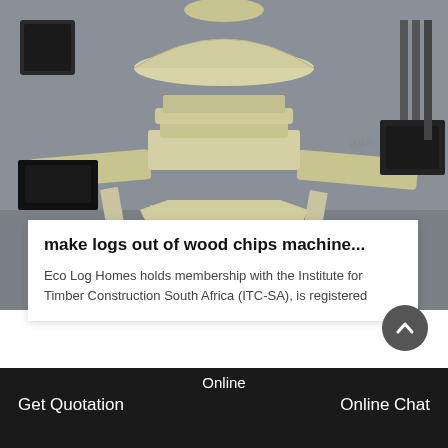[Figure (photo): Industrial cone crusher machine, cream/beige colored, large heavy equipment on a factory floor with grey concrete ground.]
make logs out of wood chips machine...
Eco Log Homes holds membership with the Institute for Timber Construction South Africa (ITC-SA), is registered
[Figure (photo): Partial view of industrial machinery or factory interior, showing structural beams and machinery.]
Online   Get Quotation   Online Chat